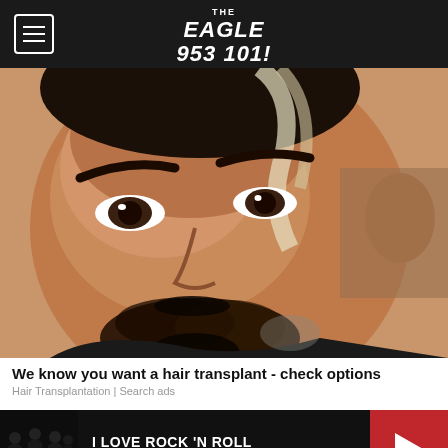THE EAGLE 95.3 101.1
[Figure (photo): Close-up portrait of a man with dark hair with lighter highlights, styled upward. He has dark eyes, well-groomed dark eyebrows, a short beard and mustache. The background is blurred beige/tan.]
We know you want a hair transplant - check options
Hair Transplantation | Search ads
[Figure (photo): Small album art for Joan Jett & The Blackhearts showing band members in dark clothing against a dark background]
I LOVE ROCK 'N ROLL
JOAN JETT & THE BLACKHEARTS